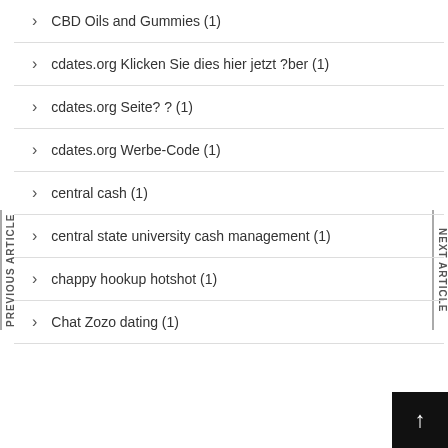CBD Oils and Gummies (1)
cdates.org Klicken Sie dies hier jetzt ?ber (1)
cdates.org Seite? ? (1)
cdates.org Werbe-Code (1)
central cash (1)
central state university cash management (1)
chappy hookup hotshot (1)
Chat Zozo dating (1)